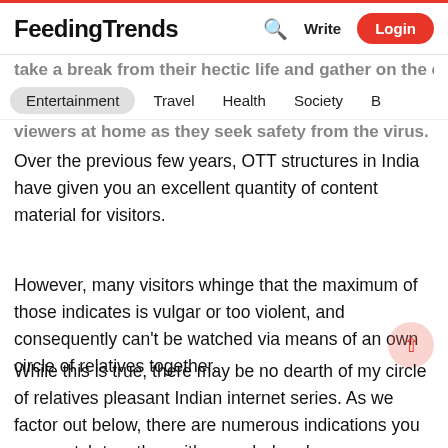FeedingTrends — Write Login
take a break from their hectic life and gather on the couch to
Entertainment   Travel   Health   Society   B
viewers at home as they seek safety from the virus.
Over the previous few years, OTT structures in India have given you an excellent quantity of content material for visitors.
However, many visitors whinge that the maximum of those indicates is vulgar or too violent, and consequently can't be watched via means of an own circle of relatives together.
While this is true, there may be no dearth of my circle of relatives pleasant Indian internet series. As we factor out below, there are numerous indications you may watch together with your dad and mom or youngsters and spend